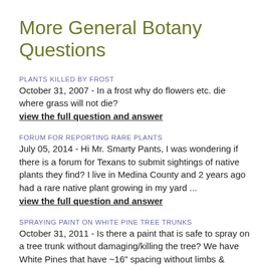More General Botany Questions
PLANTS KILLED BY FROST
October 31, 2007 - In a frost why do flowers etc. die where grass will not die?
view the full question and answer
FORUM FOR REPORTING RARE PLANTS
July 05, 2014 - Hi Mr. Smarty Pants, I was wondering if there is a forum for Texans to submit sightings of native plants they find? I live in Medina County and 2 years ago had a rare native plant growing in my yard ...
view the full question and answer
SPRAYING PAINT ON WHITE PINE TREE TRUNKS
October 31, 2011 - Is there a paint that is safe to spray on a tree trunk without damaging/killing the tree? We have White Pines that have ~16" spacing without limbs & would like to 'camouflage' the bare space. If pa...